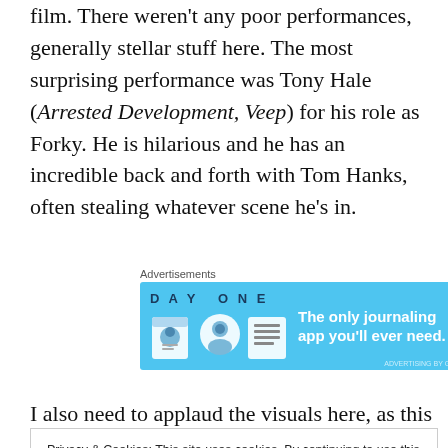film. There weren't any poor performances, generally stellar stuff here. The most surprising performance was Tony Hale (Arrested Development, Veep) for his role as Forky. He is hilarious and he has an incredible back and forth with Tom Hanks, often stealing whatever scene he's in.
[Figure (other): Advertisement banner for Day One journaling app with blue background, app icons, and text 'The only journaling app you'll ever need.']
I also need to applaud the visuals here, as this movie's
Privacy & Cookies: This site uses cookies. By continuing to use this website, you agree to their use.
To find out more, including how to control cookies, see here: Cookie Policy